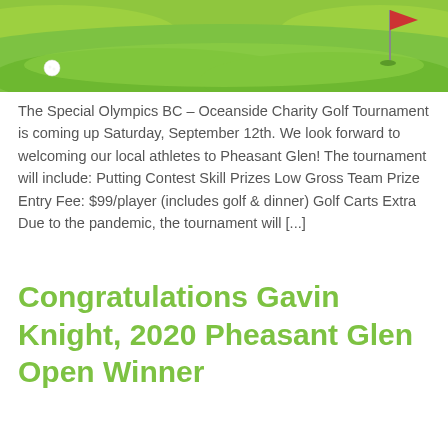[Figure (illustration): Golf course illustration showing a putting green with a golf ball, flag, and hills in shades of green]
The Special Olympics BC – Oceanside Charity Golf Tournament is coming up Saturday, September 12th. We look forward to welcoming our local athletes to Pheasant Glen!  The tournament will include: Putting Contest Skill Prizes Low Gross Team Prize Entry Fee: $99/player (includes golf & dinner) Golf Carts Extra Due to the pandemic, the tournament will [...]
Congratulations Gavin Knight, 2020 Pheasant Glen Open Winner